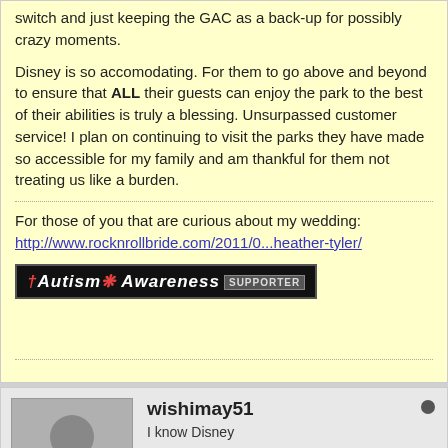switch and just keeping the GAC as a back-up for possibly crazy moments.
Disney is so accomodating. For them to go above and beyond to ensure that ALL their guests can enjoy the park to the best of their abilities is truly a blessing. Unsurpassed customer service! I plan on continuing to visit the parks they have made so accessible for my family and am thankful for them not treating us like a burden.
For those of you that are curious about my wedding:
http://www.rocknrollbride.com/2011/0...heather-tyler/
[Figure (other): Autism Awareness Supporter banner image]
wishimay51
I know Disney
Join Date: Feb 2008   Posts: 2
10-13-2009, 08:51 AM
#13